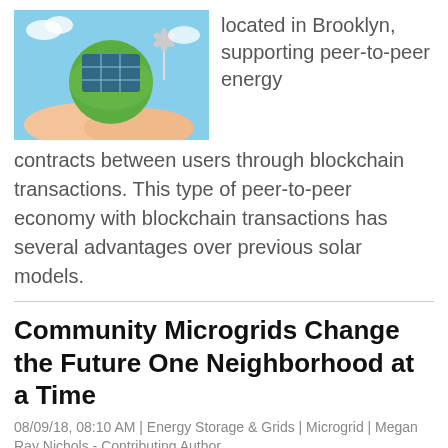[Figure (photo): Hands holding a green earth with solar panels on top, blue sky background]
located in Brooklyn, supporting peer-to-peer energy contracts between users through blockchain transactions. This type of peer-to-peer economy with blockchain transactions has several advantages over previous solar models.
Community Microgrids Change the Future One Neighborhood at a Time
08/09/18, 08:10 AM | Energy Storage & Grids | Microgrid | Megan Ray Nichols - Contributing Author
[Figure (photo): Aerial view of community buildings with solar panels on rooftops]
Energy distribution with microgrids allows communities to